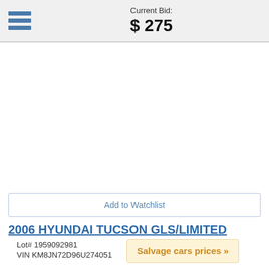Current Bid: $275
Add to Watchlist
2006 HYUNDAI TUCSON GLS/LIMITED
Lot# 1959092981
VIN KM8JN72D96U274051
Salvage cars prices »